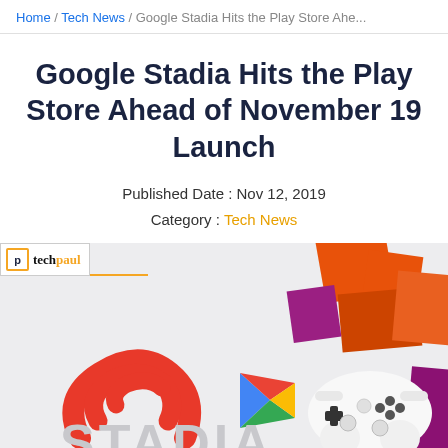Home / Tech News / Google Stadia Hits the Play Store Ahe...
Google Stadia Hits the Play Store Ahead of November 19 Launch
Published Date : Nov 12, 2019
Category : Tech News
[Figure (photo): Google Stadia promotional image showing the Stadia logo, Google Play Store logo, a white game controller, and geometric orange and purple shapes on a light grey background. The word STADIA is partially visible at bottom.]